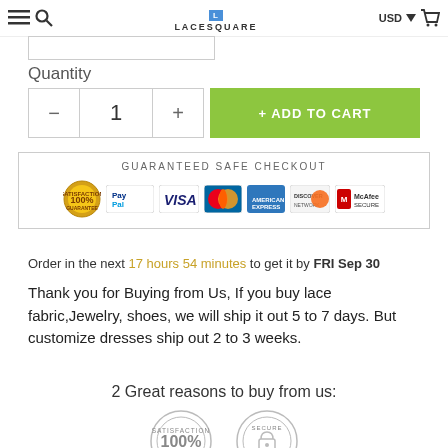LACESQUARE
Quantity
1
+ ADD TO CART
[Figure (infographic): Guaranteed Safe Checkout banner with PayPal, VISA, MasterCard, American Express, Discover, and McAfee Secure logos]
Order in the next 17 hours 54 minutes to get it by FRI Sep 30
Thank you for Buying from Us, If you buy lace fabric,Jewelry, shoes, we will ship it out 5 to 7 days. But customize dresses ship out 2 to 3 weeks.
2 Great reasons to buy from us:
[Figure (infographic): 100% Satisfaction Guaranteed badge and Secure Ordering badge]